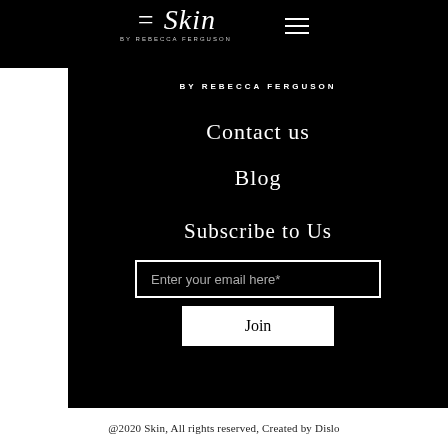[Figure (logo): Skin by Rebecca Ferguson script logo in white on black background with hamburger menu icon]
BY REBECCA FERGUSON
Contact us
Blog
Subscribe to Us
Enter your email here*
Join
@2020 Skin, All rights reserved, Created by Dislo